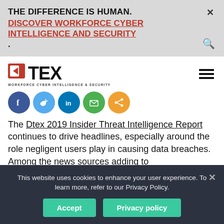THE DIFFERENCE IS HUMAN. DISCOVER WORKFORCE CYBER INTELLIGENCE AND SECURITY.
[Figure (logo): DTEX logo with tagline WORKFORCE CYBER INTELLIGENCE & SECURITY]
[Figure (infographic): Social sharing icons: Facebook, Twitter, LinkedIn, Email, Share]
The Dtex 2019 Insider Threat Intelligence Report continues to drive headlines, especially around the role negligent users play in causing data breaches. Among the news sources adding to the story...
This website uses cookies to enhance your user experience. To learn more, refer to our Privacy Policy.